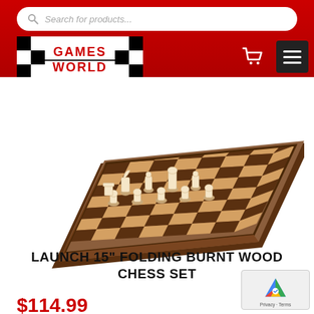[Figure (screenshot): Search bar with magnifying glass icon and placeholder text 'Search for products...' on a red background]
[Figure (logo): Games World logo - red text on black and white checkerboard pattern]
[Figure (photo): Product photo of a folding wooden chess set with pieces set up, shot at an angle showing the board and pieces in starting position]
LAUNCH 15" FOLDING BURNT WOOD CHESS SET
$114.99